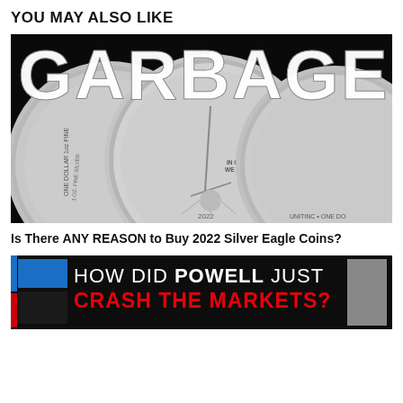YOU MAY ALSO LIKE
[Figure (photo): Black background with three silver eagle coins arranged side by side, with large white text 'GARBAGE' overlaid at the top. The center coin shows a walking liberty design dated 2022 with 'IN GOD WE TRUST'. The left coin shows an eagle and 'ONE DOLLAR 1oz FINE'. The right coin shows an eagle and 'ONE DO...' text.]
Is There ANY REASON to Buy 2022 Silver Eagle Coins?
[Figure (screenshot): Dark banner image with blue accents on left side. White and red text reads: 'HOW DID POWELL JUST CRASH THE MARKETS?' with POWELL and CRASH THE MARKETS in bold. Red text for 'CRASH THE MARKETS?'.]